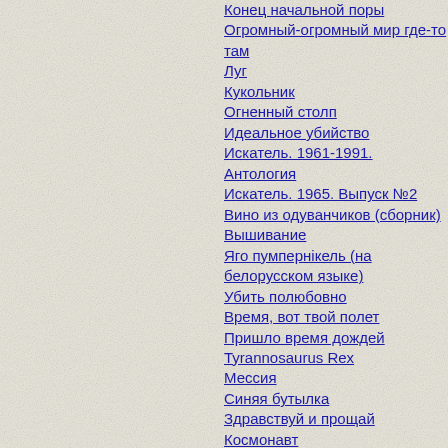Конец начальной поры
Огромный-огромный мир где-то там
Луг
Кукольник
Огненный столп
Идеальное убийство
Искатель. 1961-1991. Антология
Искатель. 1965. Выпуск №2
Вино из одуванчиков (сборник)
Вышивание
Яго пумпернікель (на белорусском языке)
Убить полюбовно
Время, вот твой полет
Пришло время дождей
Tyrannosaurus Rex
Мессия
Синяя бутылка
Здравствуй и прощай
Космонавт
Электростанция
Кошки-мышки